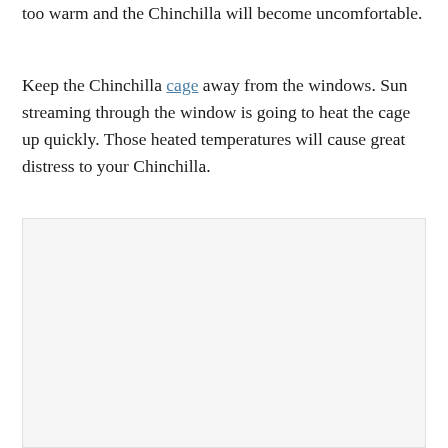too warm and the Chinchilla will become uncomfortable.
Keep the Chinchilla cage away from the windows. Sun streaming through the window is going to heat the cage up quickly. Those heated temperatures will cause great distress to your Chinchilla.
[Figure (photo): A light gray placeholder image area representing a photo, approximately square, positioned in the lower half of the page.]